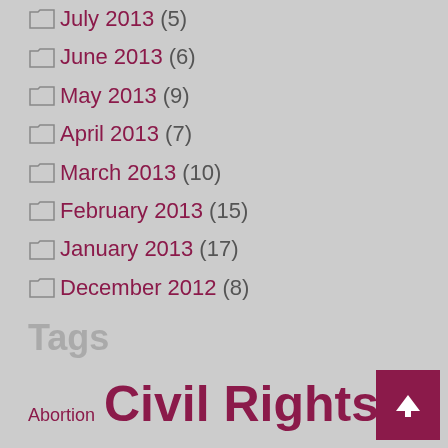July 2013 (5)
June 2013 (6)
May 2013 (9)
April 2013 (7)
March 2013 (10)
February 2013 (15)
January 2013 (17)
December 2012 (8)
Tags
Abortion Civil Rights Congress current-events Domestic Violence Donald Trump Economic Justice elections Gender-based Violence